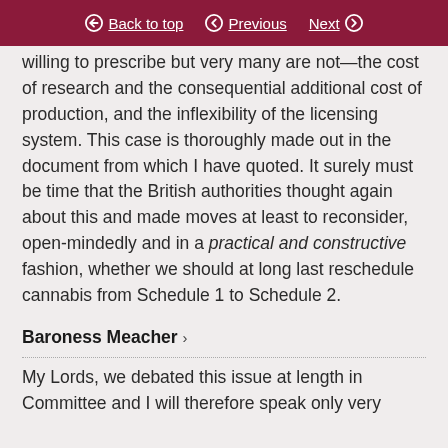Back to top  Previous  Next
willing to prescribe but very many are not—the cost of research and the consequential additional cost of production, and the inflexibility of the licensing system. This case is thoroughly made out in the document from which I have quoted. It surely must be time that the British authorities thought again about this and made moves at least to reconsider, open-mindedly and in a practical and constructive fashion, whether we should at long last reschedule cannabis from Schedule 1 to Schedule 2.
Baroness Meacher
My Lords, we debated this issue at length in Committee and I will therefore speak only very